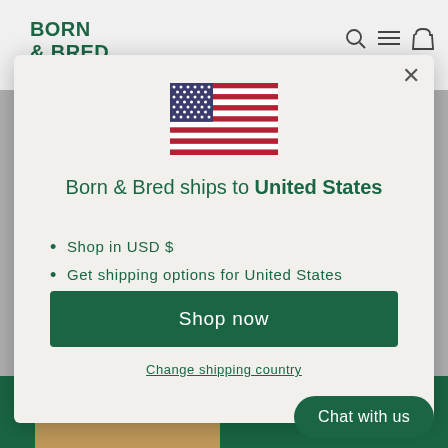BORN & BRED
[Figure (screenshot): US flag emoji / illustration centered in modal]
Born & Bred ships to United States
Shop in USD $
Get shipping options for United States
Shop now
Change shipping country
Chat with us